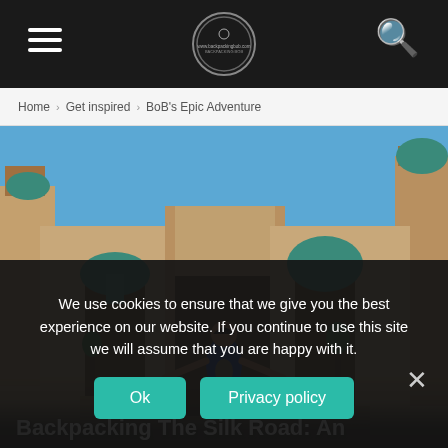Navigation bar with hamburger menu, logo, and search icon
Home › Get inspired › BoB's Epic Adventure
[Figure (photo): Outdoor photo of a woman with arms outstretched standing in front of the Registan complex in Samarkand, Uzbekistan, with blue domes and ornate brick architecture under a clear blue sky]
Backpacking The Silk Road: An
We use cookies to ensure that we give you the best experience on our website. If you continue to use this site we will assume that you are happy with it.